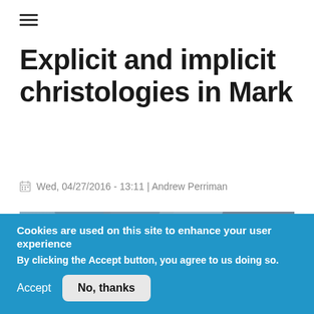≡
Explicit and implicit christologies in Mark
Wed, 04/27/2016 - 13:11 | Andrew Perriman
[Figure (photo): Abstract or cubist-style artwork showing figures and angular shapes in muted blues, grays, and earth tones]
Cookies are used on this site to enhance your user experience
By clicking the Accept button, you agree to us doing so.
Accept   No, thanks